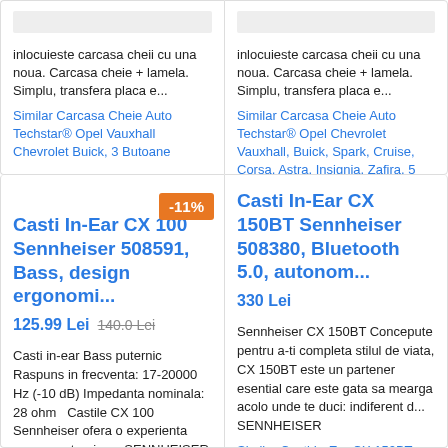inlocuieste carcasa cheii cu una noua. Carcasa cheie + lamela. Simplu, transfera placa e...
Similar Carcasa Cheie Auto Techstar® Opel Vauxhall Chevrolet Buick, 3 Butoane
inlocuieste carcasa cheii cu una noua. Carcasa cheie + lamela. Simplu, transfera placa e...
Similar Carcasa Cheie Auto Techstar® Opel Chevrolet Vauxhall, Buick, Spark, Cruise, Corsa, Astra, Insignia, Zafira, 5 Butoane
Casti In-Ear CX 100 Sennheiser 508591, Bass, design ergonomi...
-11%
125.99 Lei  140.0 Lei
Casti in-ear Bass puternic Raspuns in frecventa: 17-20000 Hz (-10 dB) Impedanta nominala: 28 ohm   Castile CX 100 Sennheiser ofera o experienta sonora puternica... SENNHEISER
Similar Casti In-Ear CX 100 Sennheiser 508591, Bass, design ergonomic, 28 ohm, Negru
Casti In-Ear CX 150BT Sennheiser 508380, Bluetooth 5.0, autonom...
330 Lei
Sennheiser CX 150BT Concepute pentru a-ti completa stilul de viata, CX 150BT este un partener esential care este gata sa mearga acolo unde te duci: indiferent d... SENNHEISER
Similar Casti In-Ear CX 150BT Sennheiser 508380, Bluetooth 5.0, autonomie 10 h, SBC/AAC, Negru